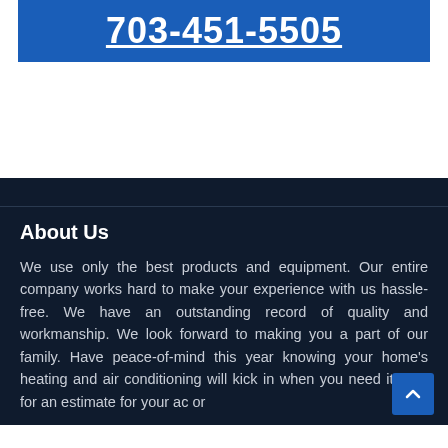703-451-5505
About Us
We use only the best products and equipment. Our entire company works hard to make your experience with us hassle-free. We have an outstanding record of quality and workmanship. We look forward to making you a part of our family. Have peace-of-mind this year knowing your home's heating and air conditioning will kick in when you need it. Call for an estimate for your ac or